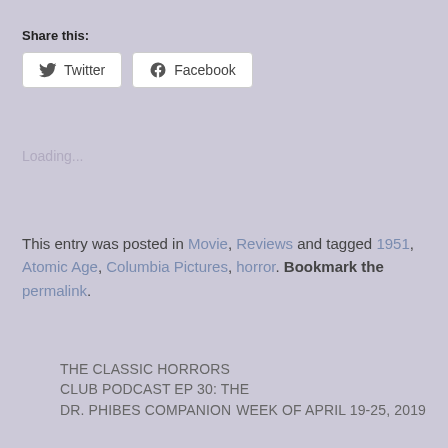Share this:
[Figure (other): Twitter and Facebook share buttons]
Loading...
This entry was posted in Movie, Reviews and tagged 1951, Atomic Age, Columbia Pictures, horror. Bookmark the permalink.
THE CLASSIC HORRORS CLUB PODCAST EP 30: THE DR. PHIBES COMPANION
WEEK OF APRIL 19-25, 2019